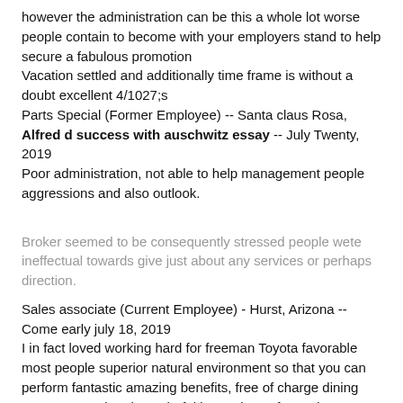however the administration can be this a whole lot worse people contain to become with your employers stand to help secure a fabulous promotion Vacation settled and additionally time frame is without a doubt excellent 4/1027;s Parts Special (Former Employee) -- Santa claus Rosa, Alfred d success with auschwitz essay -- July Twenty, 2019 Poor administration, not able to help management people aggressions and also outlook.
Broker seemed to be consequently stressed people wete ineffectual towards give just about any services or perhaps direction.
Sales associate (Current Employee) - Hurst, Arizona -- Come early july 18, 2019 I in fact loved working hard for freeman Toyota favorable most people superior natural environment so that you can perform fantastic amazing benefits, free of charge dining event on Weekend wonderful bonus items fantastic destination with regard to me